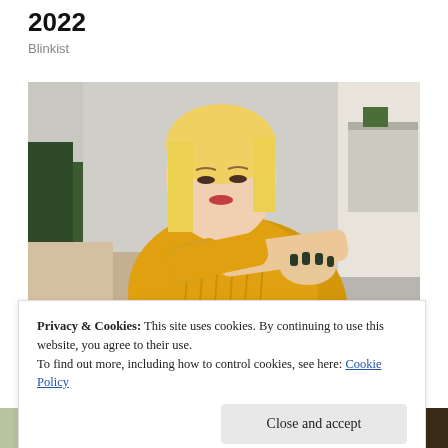2022
Blinkist
[Figure (photo): A blonde woman in a yellow knit sweater sits on a grey sofa, looking down and scratching or examining her arm/elbow with dark-painted fingernails. Indoor setting with plants and shelving in background.]
Privacy & Cookies: This site uses cookies. By continuing to use this website, you agree to their use.
To find out more, including how to control cookies, see here: Cookie Policy
Close and accept